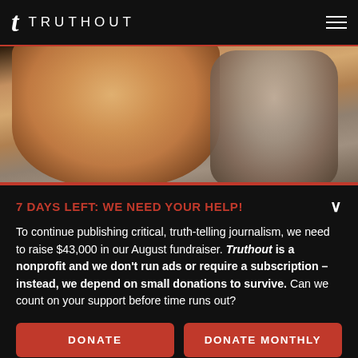t TRUTHOUT
[Figure (photo): Close-up photo of a man speaking, with another person visible in the background]
7 DAYS LEFT: WE NEED YOUR HELP!
To continue publishing critical, truth-telling journalism, we need to raise $43,000 in our August fundraiser. Truthout is a nonprofit and we don't run ads or require a subscription – instead, we depend on small donations to survive. Can we count on your support before time runs out?
DONATE
DONATE MONTHLY